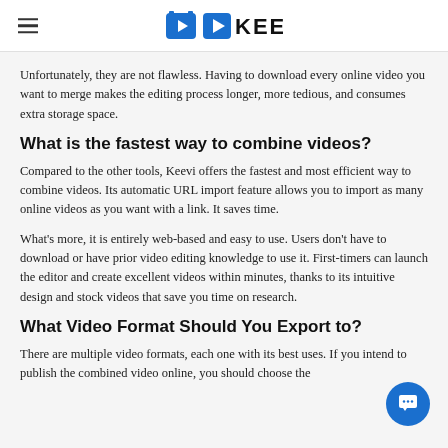KEEVI
Unfortunately, they are not flawless. Having to download every online video you want to merge makes the editing process longer, more tedious, and consumes extra storage space.
What is the fastest way to combine videos?
Compared to the other tools, Keevi offers the fastest and most efficient way to combine videos. Its automatic URL import feature allows you to import as many online videos as you want with a link. It saves time.
What's more, it is entirely web-based and easy to use. Users don't have to download or have prior video editing knowledge to use it. First-timers can launch the editor and create excellent videos within minutes, thanks to its intuitive design and stock videos that save you time on research.
What Video Format Should You Export to?
There are multiple video formats, each one with its best uses. If you intend to publish the combined video online, you should choose the